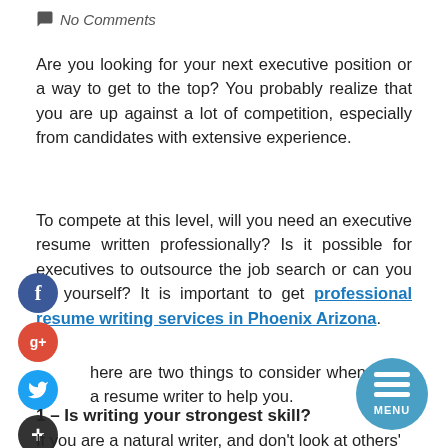No Comments
Are you looking for your next executive position or a way to get to the top? You probably realize that you are up against a lot of competition, especially from candidates with extensive experience.
To compete at this level, will you need an executive resume written professionally? Is it possible for executives to outsource the job search or can you do yourself? It is important to get professional resume writing services in Phoenix Arizona.
here are two things to consider when hiring a resume writer to help you.
1 – Is writing your strongest skill?
If you are a natural writer, and don't look at others'